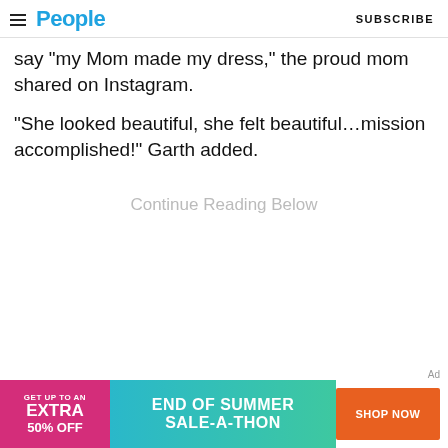People | SUBSCRIBE
say “my Mom made my dress,” the proud mom shared on Instagram.
“She looked beautiful, she felt beautiful…mission accomplished!” Garth added.
Continue Reading Below
[Figure (other): Advertisement banner: GET UP TO AN EXTRA 50% OFF | END OF SUMMER SALE-A-THON | SHOP NOW]